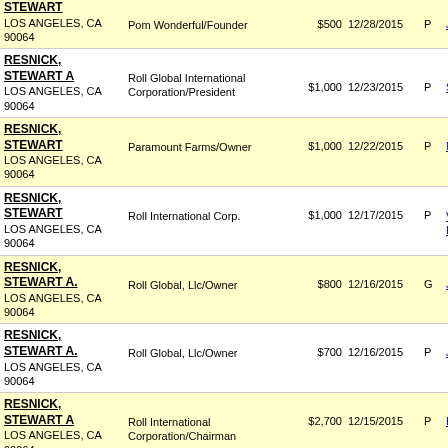| Name/Address | Employer/Occupation | Amount | Date | Type | Link |
| --- | --- | --- | --- | --- | --- |
| STEWART
LOS ANGELES, CA 90064 | Pom Wonderful/Founder | $500 | 12/28/2015 | P | JIM |
| RESNICK, STEWART A
LOS ANGELES, CA 90064 | Roll Global International Corporation/President | $1,000 | 12/23/2015 | P | STA |
| RESNICK, STEWART
LOS ANGELES, CA 90064 | Paramount Farms/Owner | $1,000 | 12/22/2015 | P | MO |
| RESNICK, STEWART
LOS ANGELES, CA 90064 | Roll International Corp. | $1,000 | 12/17/2015 | P | VIC EM |
| RESNICK, STEWART A.
LOS ANGELES, CA 90064 | Roll Global, Llc/Owner | $800 | 12/16/2015 | G | JIM |
| RESNICK, STEWART A.
LOS ANGELES, CA 90064 | Roll Global, Llc/Owner | $700 | 12/16/2015 | P | JIM |
| RESNICK, STEWART A
LOS ANGELES, CA 90064 | Roll International Corporation/Chairman | $2,700 | 12/15/2015 | P | KAI |
| RESNICK, STEWART A
... |  |  |  |  |  |